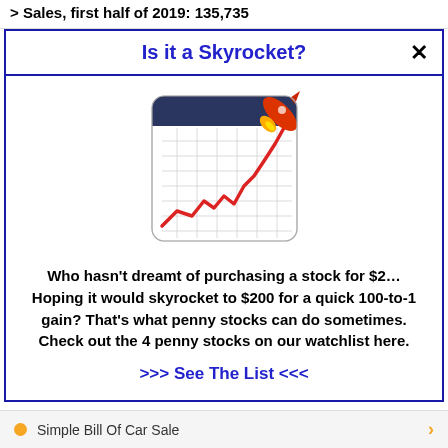> Sales, first half of 2019: 135,735
Is it a Skyrocket?
[Figure (illustration): Icon showing a calendar/chart with a red upward trending line and a rocket launching from the top right corner]
Who hasn't dreamt of purchasing a stock for $2… Hoping it would skyrocket to $200 for a quick 100-to-1 gain? That's what penny stocks can do sometimes. Check out the 4 penny stocks on our watchlist here.
>>> See The List <<<
Simple Bill Of Car Sale